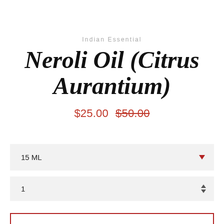Indian Essential
Neroli Oil (Citrus Aurantium)
$25.00  $50.00
15 ML
1